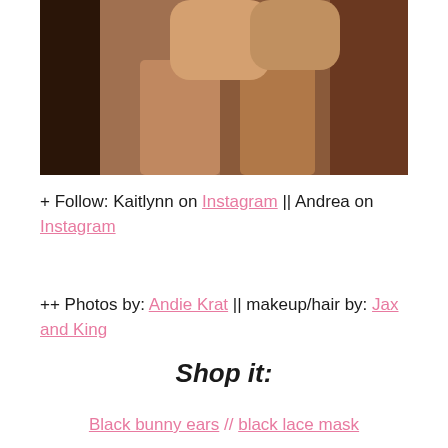[Figure (photo): Two women posing together, cropped to upper bodies, dark background]
+ Follow: Kaitlynn on Instagram || Andrea on Instagram
++ Photos by: Andie Krat || makeup/hair by: Jax and King
Shop it:
Black bunny ears // black lace mask